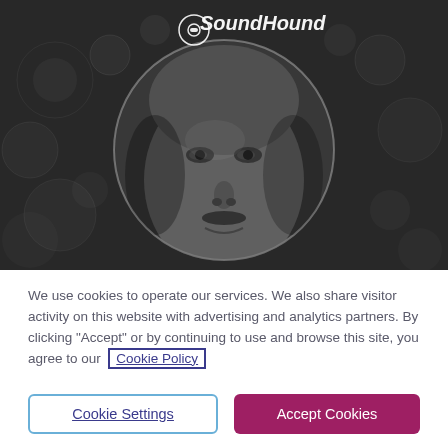[Figure (screenshot): SoundHound website screenshot showing logo at top with a black-and-white photo of a man's face in a circular frame on a dark bokeh background, with a cookie consent dialog below]
We use cookies to operate our services. We also share visitor activity on this website with advertising and analytics partners. By clicking “Accept” or by continuing to use and browse this site, you agree to our Cookie Policy
Cookie Settings
Accept Cookies